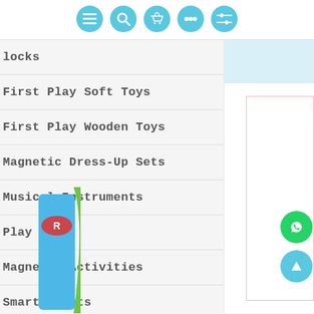[Figure (screenshot): Navigation bar with 5 circular blue icon buttons: menu (hamburger), search (magnifier), basket, dots, and sliders]
locks
First Play Soft Toys
First Play Wooden Toys
Magnetic Dress-Up Sets
Musical Instruments
Play Sets
Magnetic Activities
Smarty Pants
[Figure (photo): Partial toy product image visible on the right side of the page with green and blue colors]
[Figure (other): WhatsApp contact button (green circle with WhatsApp icon)]
[Figure (other): Scroll-to-top button (blue circle with upward triangle arrow)]